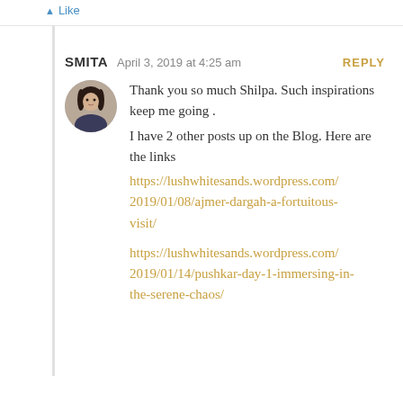Like
SMITA   April 3, 2019 at 4:25 am   REPLY
[Figure (photo): Circular avatar photo of a woman with dark hair]
Thank you so much Shilpa. Such inspirations keep me going . I have 2 other posts up on the Blog. Here are the links https://lushwhitesands.wordpress.com/2019/01/08/ajmer-dargah-a-fortuitous-visit/ https://lushwhitesands.wordpress.com/2019/01/14/pushkar-day-1-immersing-in-the-serene-chaos/